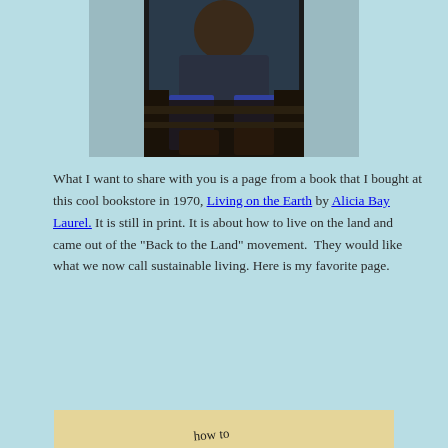[Figure (photo): A person sitting outdoors on rocks or ground, wearing jeans and boots, photographed from the waist down.]
What I want to share with you is a page from a book that I bought at this cool bookstore in 1970, Living on the Earth by Alicia Bay Laurel. It is still in print. It is about how to live on the land and came out of the "Back to the Land" movement.  They would like what we now call sustainable living. Here is my favorite page.
[Figure (illustration): A hand-drawn illustration from the book 'Living on the Earth' showing the text 'how to slow down' with decorative curved lines.]